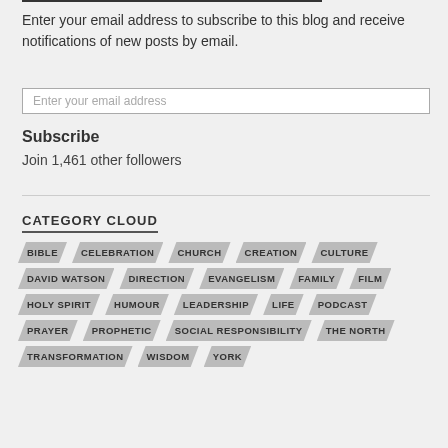Enter your email address to subscribe to this blog and receive notifications of new posts by email.
Enter your email address
Subscribe
Join 1,461 other followers
CATEGORY CLOUD
BIBLE
CELEBRATION
CHURCH
CREATION
CULTURE
DAVID WATSON
DIRECTION
EVANGELISM
FAMILY
FILM
HOLY SPIRIT
HUMOUR
LEADERSHIP
LIFE
PODCAST
PRAYER
PROPHETIC
SOCIAL RESPONSIBILITY
THE NORTH
TRANSFORMATION
WISDOM
YORK